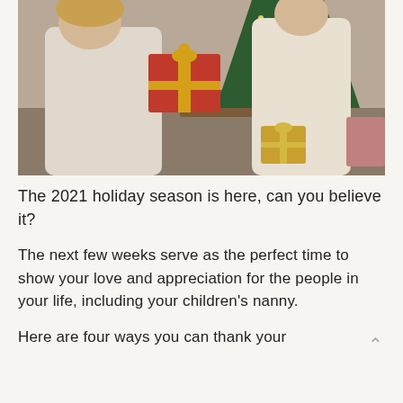[Figure (photo): A woman in a light knit top receiving a red gift box with gold ribbon from a child in a cream sweater, in front of a decorated Christmas tree. A gold-wrapped gift is visible on the floor.]
The 2021 holiday season is here, can you believe it?
The next few weeks serve as the perfect time to show your love and appreciation for the people in your life, including your children's nanny.
Here are four ways you can thank your